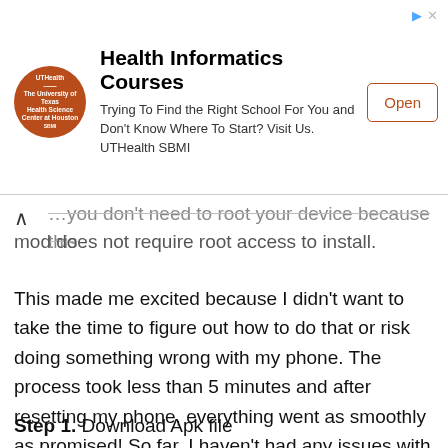[Figure (other): Advertisement banner for Health Informatics Courses by UTHealth SBMI with logo, text, and Open button]
…you don't need to root your device because this mod does not require root access to install.
This made me excited because I didn't want to take the time to figure out how to do that or risk doing something wrong with my phone. The process took less than 5 minutes and after resetting my phone, everything went as smoothly as promised! So far, I haven't had any issues with this mod either but if there are any problems in the future, they will be notified on this page so check back soon.
Step 1.  Download Apk file